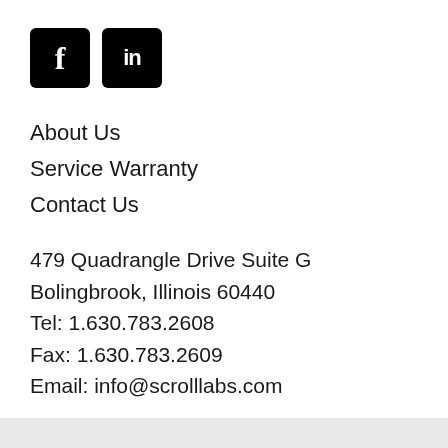[Figure (logo): Facebook and LinkedIn social media icons — black square icons with white F and 'in' logos respectively]
About Us
Service Warranty
Contact Us
479 Quadrangle Drive Suite G
Bolingbrook, Illinois 60440
Tel: 1.630.783.2608
Fax: 1.630.783.2609
Email: info@scrolllabs.com
Copyright © 2001-2022 Scroll Labs. All Rights Reserved. Website Design by Haines Creative.